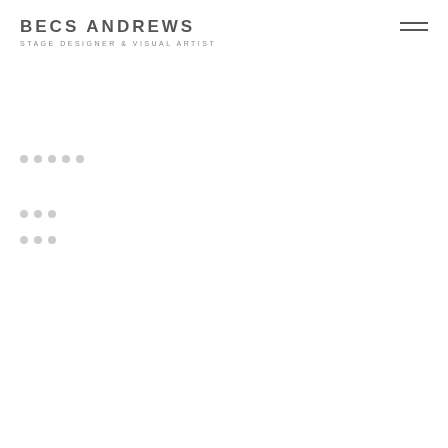BECS ANDREWS
STAGE DESIGNER & VISUAL ARTIST
[Figure (other): Hamburger/menu icon - two horizontal lines in top right corner]
[Figure (other): Loading indicator dots row 1]
[Figure (other): Loading indicator dots row 2]
[Figure (other): Loading indicator dots row 3 with dark square graphic element in center of page]